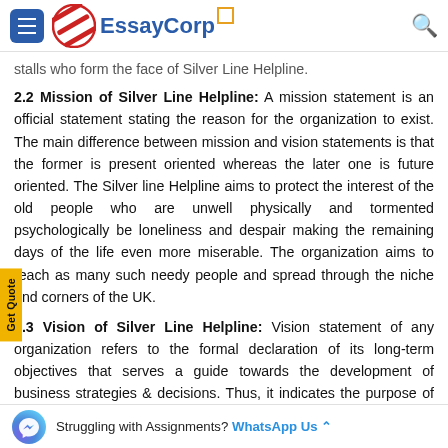EssayCorp
stalls who form the face of Silver Line Helpline.
2.2 Mission of Silver Line Helpline: A mission statement is an official statement stating the reason for the organization to exist. The main difference between mission and vision statements is that the former is present oriented whereas the later one is future oriented. The Silver line Helpline aims to protect the interest of the old people who are unwell physically and tormented psychologically be loneliness and despair making the remaining days of the life even more miserable. The organization aims to reach as many such needy people and spread through the niche and corners of the UK.
2.3 Vision of Silver Line Helpline: Vision statement of any organization refers to the formal declaration of its long-term objectives that serves a guide towards the development of business strategies & decisions. Thus, it indicates the purpose of the organization. The vision of the Silver Line is to reach the peak of popularity among the old people and
Struggling with Assignments? WhatsApp Us